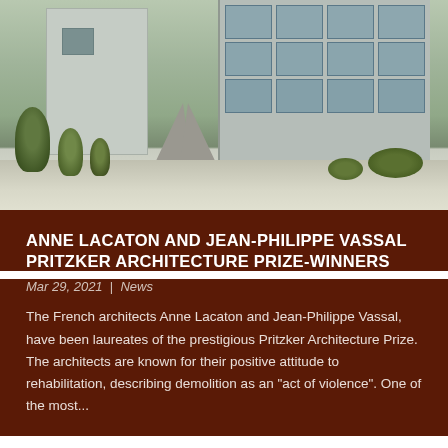[Figure (photo): Exterior photograph of a modernist building with glass facade on the right side and a plainer concrete structure on the left, with trees and vegetation in the foreground and a walkway]
ANNE LACATON AND JEAN-PHILIPPE VASSAL PRITZKER ARCHITECTURE PRIZE-WINNERS
Mar 29, 2021 | News
The French architects Anne Lacaton and Jean-Philippe Vassal, have been laureates of the prestigious Pritzker Architecture Prize. The architects are known for their positive attitude to rehabilitation, describing demolition as an "act of violence". One of the most...